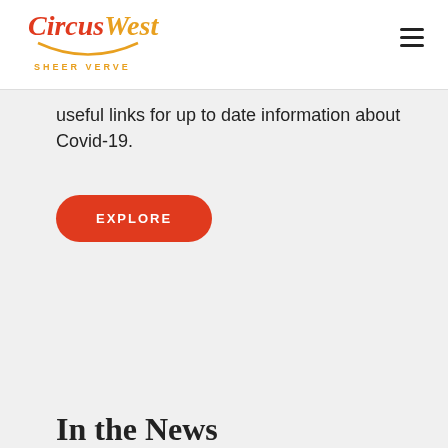CircusWest SHEER VERVE
useful links for up to date information about Covid-19.
EXPLORE
In the News